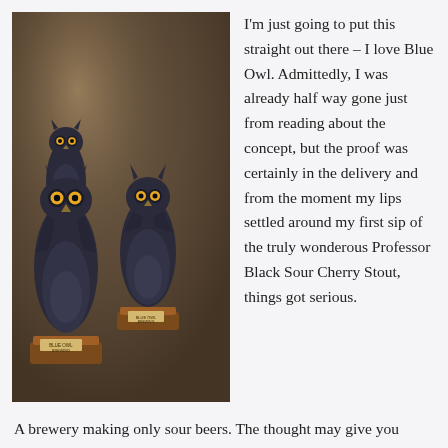[Figure (photo): Three dark blue/black ceramic owl figurines mounted on brown wooden bases on a wall. Each owl has a small label reading 'Blue Owl Brewing'. The owls vary in size and height.]
I'm just going to put this straight out there – I love Blue Owl. Admittedly, I was already half way gone just from reading about the concept, but the proof was certainly in the delivery and from the moment my lips settled around my first sip of the truly wonderous Professor Black Sour Cherry Stout, things got serious.
A brewery making only sour beers. The thought may give you hives or it may give you goosebumps. Either way, no Austin beer journey would be complete without a visit to the mighty Owl to see for yourself what they're capable of. We've been on numerous